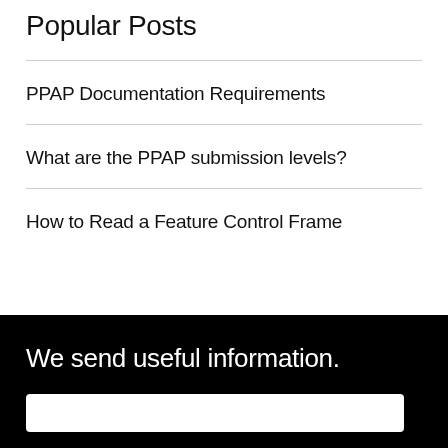Popular Posts
PPAP Documentation Requirements
What are the PPAP submission levels?
How to Read a Feature Control Frame
We send useful information.